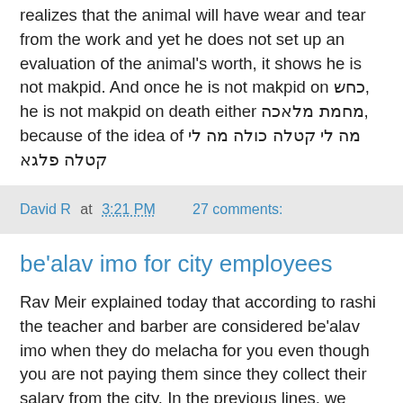realizes that the animal will have wear and tear from the work and yet he does not set up an evaluation of the animal's worth, it shows he is not makpid. And once he is not makpid on כחש, he is not makpid on death either מחמת מלאכה, because of the idea of מה לי קטלה כולה מה לי קטלה פלגא
David R at 3:21 PM    27 comments:
be'alav imo for city employees
Rav Meir explained today that according to rashi the teacher and barber are considered be'alav imo when they do melacha for you even though you are not paying them since they collect their salary from the city. In the previous lines, we were not paying the guy to give us a drink of water, so why is this a chiddush?
First of all, we see that Rishonim attack Rashi for his peshat and Ramban and others explain that the case is that these workers, since they are collecting their salary from all the